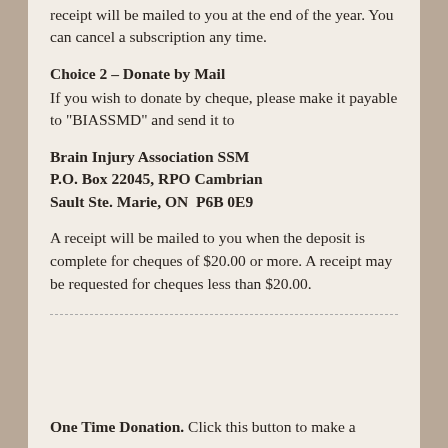receipt will be mailed to you at the end of the year. You can cancel a subscription any time.
Choice 2 – Donate by Mail
If you wish to donate by cheque, please make it payable to "BIASSMD" and send it to
Brain Injury Association SSM
P.O. Box 22045, RPO Cambrian
Sault Ste. Marie, ON  P6B 0E9
A receipt will be mailed to you when the deposit is complete for cheques of $20.00 or more. A receipt may be requested for cheques less than $20.00.
One Time Donation. Click this button to make a